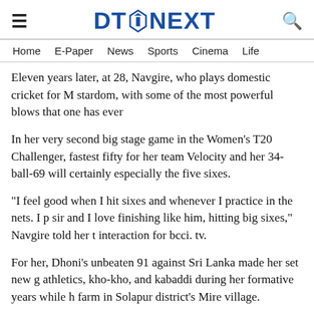DT NEXT
Home   E-Paper   News   Sports   Cinema   Life
Eleven years later, at 28, Navgire, who plays domestic cricket for M stardom, with some of the most powerful blows that one has ever
In her very second big stage game in the Women's T20 Challenger, fastest fifty for her team Velocity and her 34-ball-69 will certainly especially the five sixes.
"I feel good when I hit sixes and whenever I practice in the nets. I p sir and I love finishing like him, hitting big sixes," Navgire told her t interaction for bcci. tv.
For her, Dhoni's unbeaten 91 against Sri Lanka made her set new g athletics, kho-kho, and kabaddi during her formative years while h farm in Solapur district's Mire village.